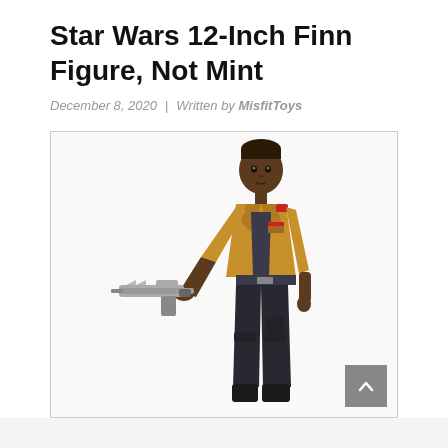Star Wars 12-Inch Finn Figure, Not Mint
December 8, 2020  |  Written by MisfitToys
[Figure (photo): Star Wars 12-inch Finn action figure holding a blaster/gun in his outstretched left hand, wearing a tan jacket over a dark shirt and black pants. White background inside a bordered image frame.]